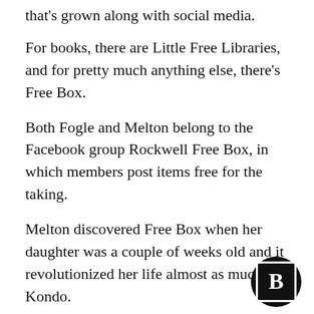that's grown along with social media.
For books, there are Little Free Libraries, and for pretty much anything else, there's Free Box.
Both Fogle and Melton belong to the Facebook group Rockwell Free Box, in which members post items free for the taking.
Melton discovered Free Box when her daughter was a couple of weeks old and it revolutionized her life almost as much as Kondo.
“We were trying to sell some stuff on Craigslist and literally no one would take a $150 IKEA for $5. People at Free Box will take a half-e bag of chips,” she said.
[Figure (logo): Circular black logo with white bordered square containing a bold white letter B]